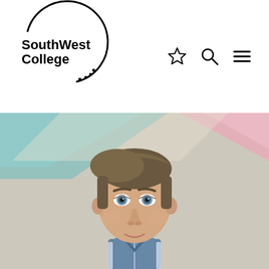[Figure (logo): South West College logo with circular design and dotted bottom arc]
[Figure (photo): Young man with short brown hair, blue eyes, wearing a grey and blue zip-up sports jacket, photographed against a beige/cream background with teal and pink diagonal design elements in the upper area]